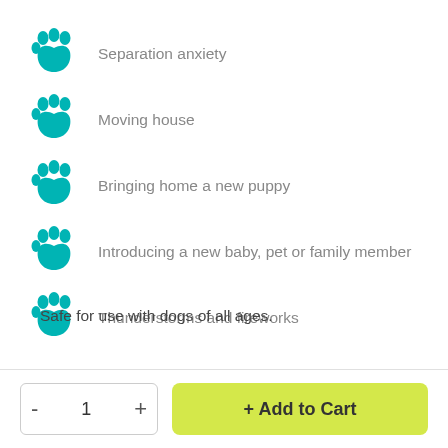Separation anxiety
Moving house
Bringing home a new puppy
Introducing a new baby, pet or family member
Thunderstorms and fireworks
Safe for use with dogs of all ages.
Need a diffuser as well? The Adaptil Diffuser Set comes with the diffuser and one vial to get you started
- 1 + Add to Cart